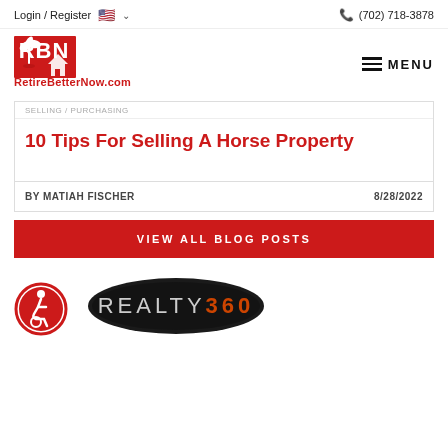Login / Register  (702) 718-3878
[Figure (logo): RBN RetireBetterNow.com logo in red with palm tree and house icon]
SELLING / PURCHASING
10 Tips For Selling A Horse Property
BY MATIAH FISCHER   8/28/2022
VIEW ALL BLOG POSTS
[Figure (logo): Accessibility icon - person in wheelchair in red circle]
[Figure (logo): REALTY360 dark oval badge logo]